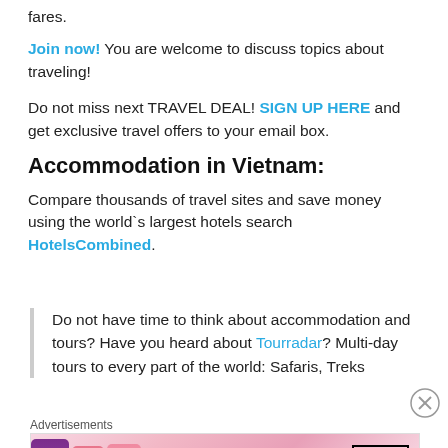fares.
Join now! You are welcome to discuss topics about traveling!
Do not miss next TRAVEL DEAL! SIGN UP HERE and get exclusive travel offers to your email box.
Accommodation in Vietnam:
Compare thousands of travel sites and save money using the world`s largest hotels search HotelsCombined.
Do not have time to think about accommodation and tours? Have you heard about Tourradar? Multi-day tours to every part of the world: Safaris, Treks
Advertisements
[Figure (photo): MAC cosmetics advertisement showing lipsticks with SHOP NOW button]